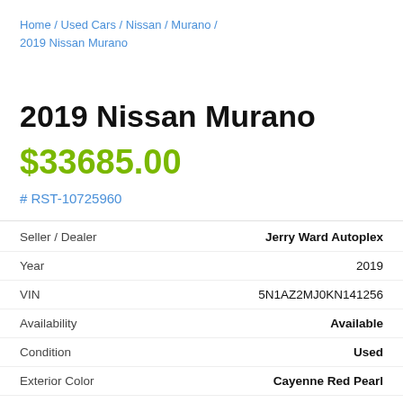Home / Used Cars / Nissan / Murano / 2019 Nissan Murano
2019 Nissan Murano
$33685.00
# RST-10725960
| Field | Value |
| --- | --- |
| Seller / Dealer | Jerry Ward Autoplex |
| Year | 2019 |
| VIN | 5N1AZ2MJ0KN141256 |
| Availability | Available |
| Condition | Used |
| Exterior Color | Cayenne Red Pearl |
| Miles | 14292 mi |